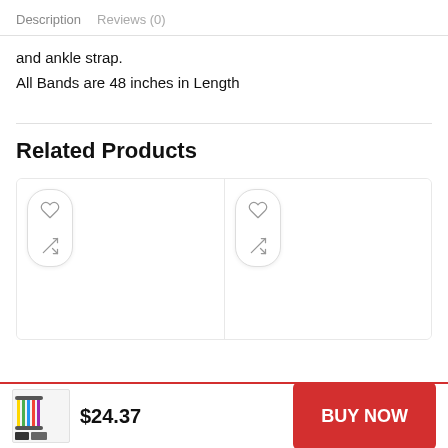Description   Reviews (0)
and ankle strap.
All Bands are 48 inches in Length
Related Products
[Figure (other): Two related product cards with heart (wishlist) and compare icons, shown in a horizontal card row. Each card has a white rounded action button group with a heart icon and a compare/shuffle icon.]
[Figure (other): Bottom sticky bar with product thumbnail image (resistance bands set), price $24.37, and red BUY NOW button.]